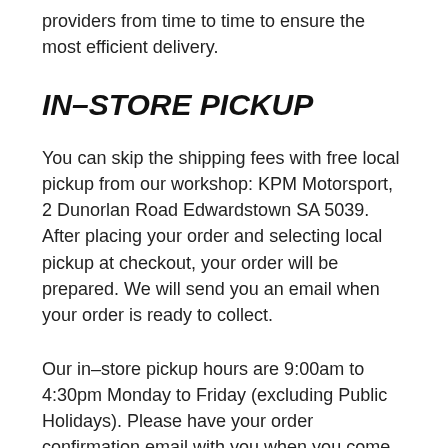providers from time to time to ensure the most efficient delivery.
IN–STORE PICKUP
You can skip the shipping fees with free local pickup from our workshop: KPM Motorsport, 2 Dunorlan Road Edwardstown SA 5039. After placing your order and selecting local pickup at checkout, your order will be prepared. We will send you an email when your order is ready to collect.
Our in–store pickup hours are 9:00am to 4:30pm Monday to Friday (excluding Public Holidays). Please have your order confirmation email with you when you come.